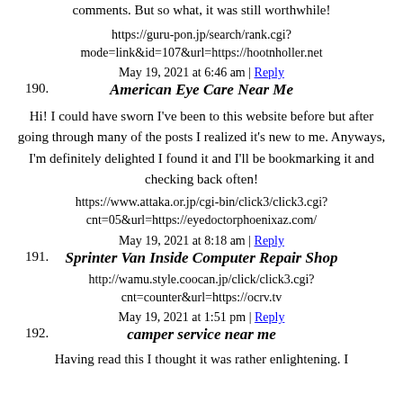comments. But so what, it was still worthwhile!
https://guru-pon.jp/search/rank.cgi?mode=link&id=107&url=https://hootnholler.net
May 19, 2021 at 6:46 am | Reply
190. American Eye Care Near Me
Hi! I could have sworn I've been to this website before but after going through many of the posts I realized it's new to me. Anyways, I'm definitely delighted I found it and I'll be bookmarking it and checking back often!
https://www.attaka.or.jp/cgi-bin/click3/click3.cgi?cnt=05&url=https://eyedoctorphoenixaz.com/
May 19, 2021 at 8:18 am | Reply
191. Sprinter Van Inside Computer Repair Shop
http://wamu.style.coocan.jp/click/click3.cgi?cnt=counter&url=https://ocrv.tv
May 19, 2021 at 1:51 pm | Reply
192. camper service near me
Having read this I thought it was rather enlightening. I